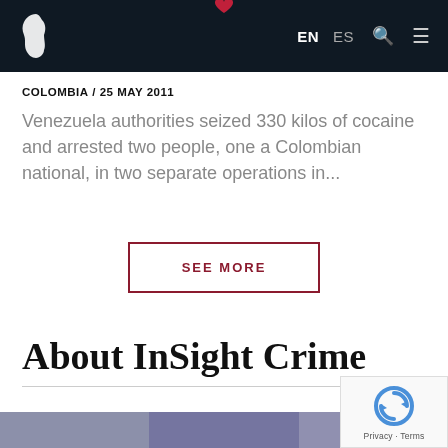InSight Crime — EN ES navigation header
COLOMBIA / 25 MAY 2011
Venezuela authorities seized 330 kilos of cocaine and arrested two people, one a Colombian national, in two separate operations in...
SEE MORE
About InSight Crime
[Figure (photo): Bottom image strip showing landscape/aerial photographs]